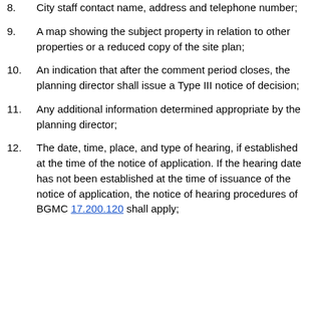8.    City staff contact name, address and telephone number;
9.    A map showing the subject property in relation to other properties or a reduced copy of the site plan;
10.    An indication that after the comment period closes, the planning director shall issue a Type III notice of decision;
11.    Any additional information determined appropriate by the planning director;
12.    The date, time, place, and type of hearing, if established at the time of the notice of application. If the hearing date has not been established at the time of issuance of the notice of application, the notice of hearing procedures of BGMC 17.200.120 shall apply;